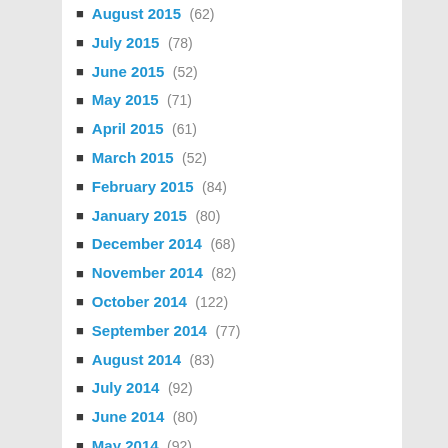August 2015 (62)
July 2015 (78)
June 2015 (52)
May 2015 (71)
April 2015 (61)
March 2015 (52)
February 2015 (84)
January 2015 (80)
December 2014 (68)
November 2014 (82)
October 2014 (122)
September 2014 (77)
August 2014 (83)
July 2014 (92)
June 2014 (80)
May 2014 (92)
April 2014 (96)
March 2014 (113)
February 2014 (43)
January 2014 (39)
December 2013 (52)
November 2013 (68)